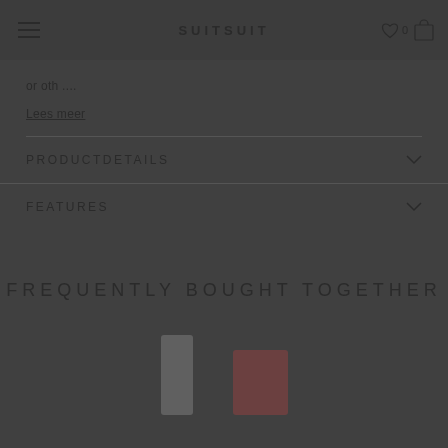SUITSUIT
or oth....
Lees meer
PRODUCTDETAILS
FEATURES
FREQUENTLY BOUGHT TOGETHER
[Figure (photo): Product images partially visible at bottom of page showing luggage items]